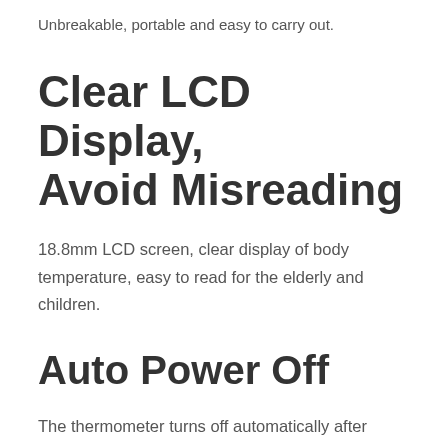Unbreakable, portable and easy to carry out.
Clear LCD Display, Avoid Misreading
18.8mm LCD screen, clear display of body temperature, easy to read for the elderly and children.
Auto Power Off
The thermometer turns off automatically after